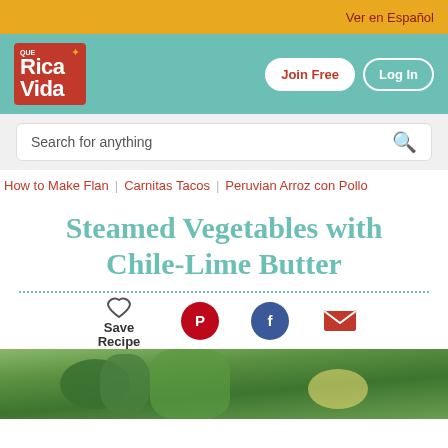Ver en Español
[Figure (logo): Que Rica Vida logo — red box with white text]
Join Free  Log In
Search for anything
How to Make Flan | Carnitas Tacos | Peruvian Arroz con Pollo
Steamed Vegetables with Chile-Lime Butter
Save Recipe
[Figure (photo): Bottom photo of steamed vegetables with broccoli and lime]